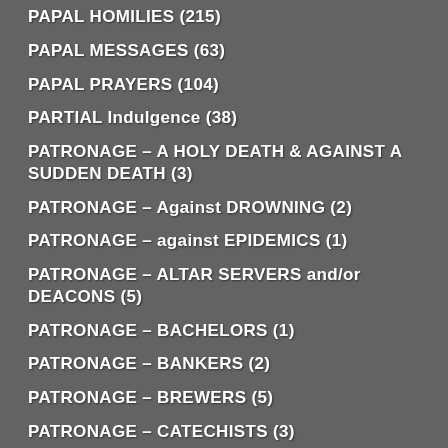PAPAL HOMILIES (215)
PAPAL MESSAGES (63)
PAPAL PRAYERS (104)
PARTIAL Indulgence (38)
PATRONAGE – A HOLY DEATH & AGAINST A SUDDEN DEATH (3)
PATRONAGE – Against DROWNING (2)
PATRONAGE – against EPIDEMICS (1)
PATRONAGE – ALTAR SERVERS and/or DEACONS (5)
PATRONAGE – BACHELORS (1)
PATRONAGE – BANKERS (2)
PATRONAGE – BREWERS (5)
PATRONAGE – CATECHISTS (3)
PATRONAGE – CATHOLIC PRESS (2)